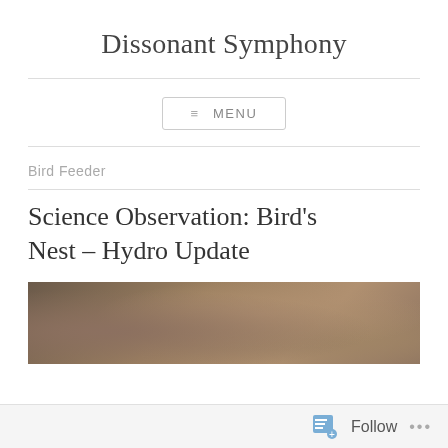Dissonant Symphony
MENU
Bird Feeder
Science Observation: Bird's Nest – Hydro Update
[Figure (photo): Close-up photo of a bird's nest material, showing twigs, seeds, and organic debris in brown and grey tones]
Follow ...